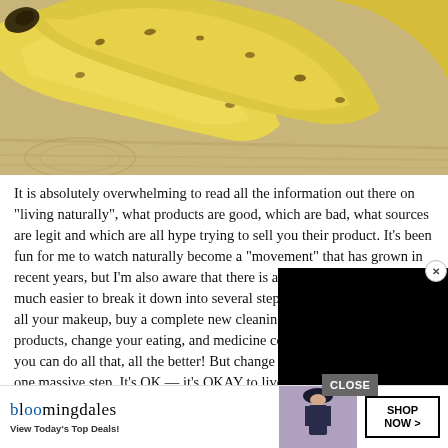[Figure (photo): Close-up photo of yellow bananas with brown spots resting on a wooden surface]
It is absolutely overwhelming to read all the information out there on "living naturally", what products are good, which are bad, what sources are legit and which are all h[ype trying to sell] you their product. It's been fun for [me to watch] naturally become a "movement" tha[t has grown in] recent years, but I'm also aware tha[t there is a lot of] misinformation. It's much easier to [take this broken] down into several steps. Should you throw out all your makeup, buy a complete new cleaning set, new personal care products, change your eating, and medicine consuming habits? Yeah, if you can do all that, all the better! But change comes in s[teps, no]t just one mas[sive step. It's OK — it's OKA]Y to live a le[ss than perfect life and to] start a healt[hy...
[Figure (screenshot): Black rectangle overlay covering part of the article text (video advertisement overlay)]
[Figure (screenshot): Bloomingdale's advertisement banner at the bottom: logo, 'View Today's Top Deals!', fashion photo, 'SHOP NOW >' button]